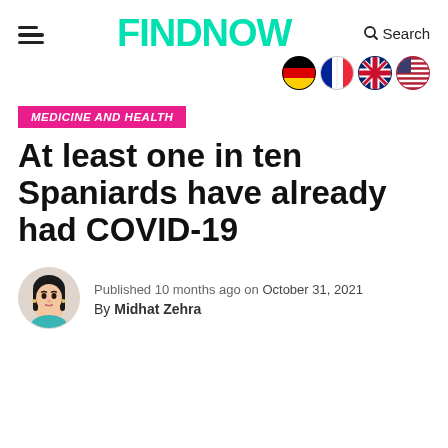FINDNOW  Search
[Figure (illustration): Four country flag emoji circles: Germany, France, UK, USA]
MEDICINE AND HEALTH
At least one in ten Spaniards have already had COVID-19
[Figure (illustration): Cartoon avatar of author Midhat Zehra, a woman with dark hair and teal top]
Published 10 months ago on October 31, 2021
By Midhat Zehra